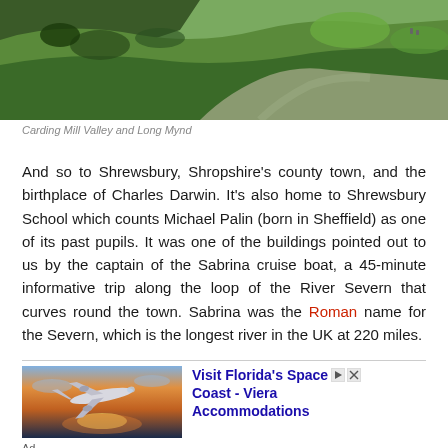[Figure (photo): Landscape photo of Carding Mill Valley and Long Mynd showing green hills and a path]
Carding Mill Valley and Long Mynd
And so to Shrewsbury, Shropshire's county town, and the birthplace of Charles Darwin. It's also home to Shrewsbury School which counts Michael Palin (born in Sheffield) as one of its past pupils. It was one of the buildings pointed out to us by the captain of the Sabrina cruise boat, a 45-minute informative trip along the loop of the River Severn that curves round the town. Sabrina was the Roman name for the Severn, which is the longest river in the UK at 220 miles.
[Figure (photo): Advertisement photo of an airplane flying at sunset with orange sky]
Visit Florida's Space Coast - Viera Accommodations
Ad